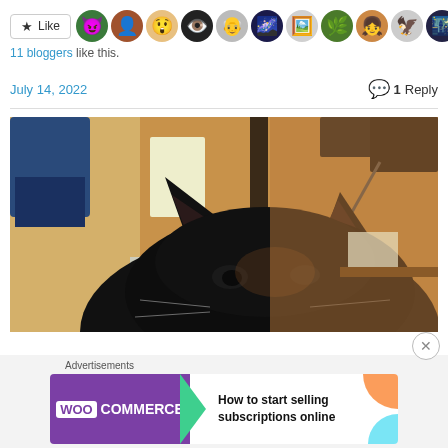[Figure (screenshot): Like button with star icon and a row of blogger avatar profile pictures]
11 bloggers like this.
July 14, 2022   💬 1 Reply
[Figure (photo): Close-up photo of a black cat with ears visible, in a room with wooden furniture and a blue T-shirt visible in background]
[Figure (screenshot): WooCommerce advertisement: How to start selling subscriptions online]